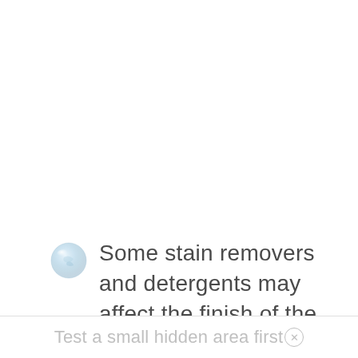Some stain removers and detergents may affect the finish of the furniture piece.
Test a small hidden area first